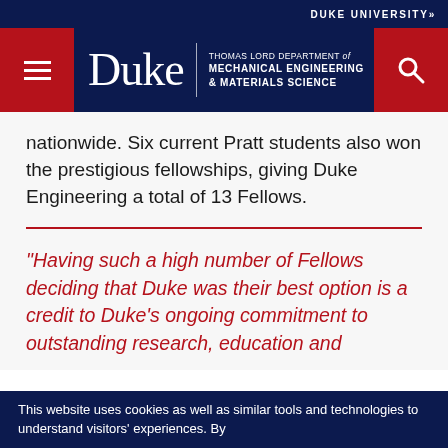DUKE UNIVERSITY»
[Figure (logo): Duke University - Thomas Lord Department of Mechanical Engineering & Materials Science header with navigation menu button and search button]
nationwide. Six current Pratt students also won the prestigious fellowships, giving Duke Engineering a total of 13 Fellows.
"Having such a high number of Fellows deciding that Duke was their best option is a credit to Duke's ongoing commitment to outstanding research, education and
This website uses cookies as well as similar tools and technologies to understand visitors' experiences. By